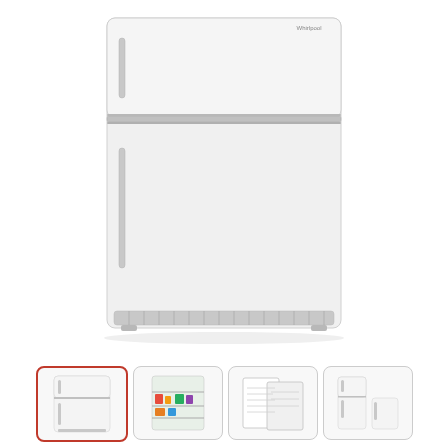[Figure (photo): Front view of a white Whirlpool top-freezer refrigerator with a silver handle bar separating the smaller top freezer compartment from the larger bottom refrigerator compartment. The bottom has a silver ventilation grille.]
[Figure (photo): Thumbnail 1 (selected, red border): Front view of white Whirlpool top-freezer refrigerator.]
[Figure (photo): Thumbnail 2: Interior view of open refrigerator with food items on shelves.]
[Figure (photo): Thumbnail 3: Specification or diagram sheet for the refrigerator.]
[Figure (photo): Thumbnail 4: Side or partial view of white refrigerator.]